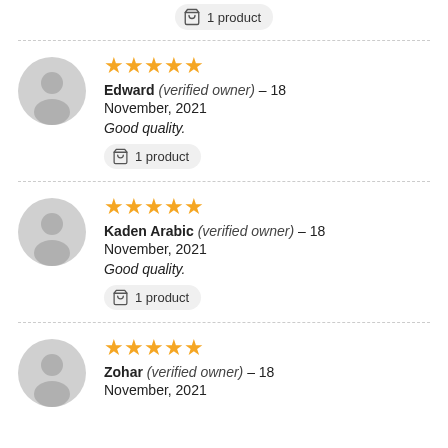1 product
★★★★★
Edward (verified owner) – 18 November, 2021
Good quality.
1 product
★★★★★
Kaden Arabic (verified owner) – 18 November, 2021
Good quality.
1 product
★★★★★
Zohar (verified owner) – 18 November, 2021